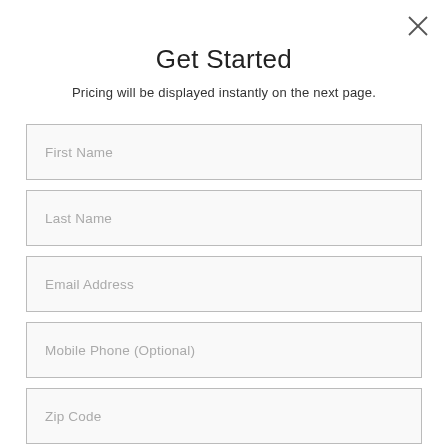[Figure (other): Close (X) button in top-right corner]
Get Started
Pricing will be displayed instantly on the next page.
First Name
Last Name
Email Address
Mobile Phone (Optional)
Zip Code